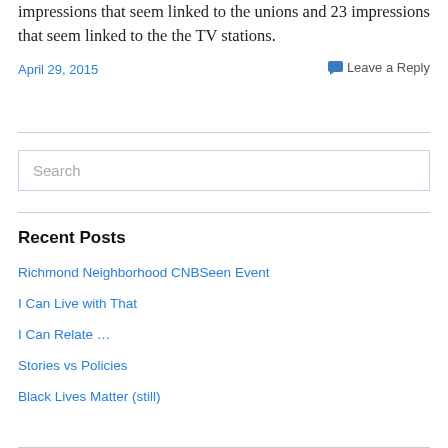impressions that seem linked to the unions and 23 impressions that seem linked to the the TV stations.
April 29, 2015
Leave a Reply
[Figure (other): Search input box with placeholder text 'Search']
Recent Posts
Richmond Neighborhood CNBSeen Event
I Can Live with That
I Can Relate …
Stories vs Policies
Black Lives Matter (still)